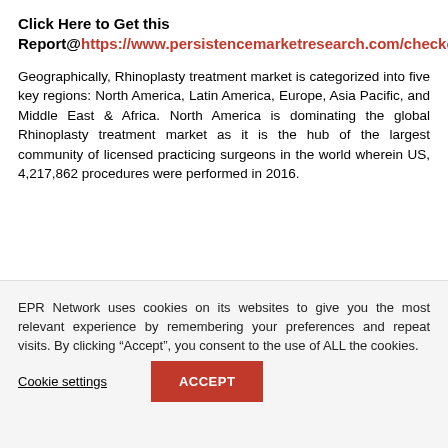Click Here to Get this Report@https://www.persistencemarketresearch.com/checkout/26872
Geographically, Rhinoplasty treatment market is categorized into five key regions: North America, Latin America, Europe, Asia Pacific, and Middle East & Africa. North America is dominating the global Rhinoplasty treatment market as it is the hub of the largest community of licensed practicing surgeons in the world wherein US, 4,217,862 procedures were performed in 2016.
EPR Network uses cookies on its websites to give you the most relevant experience by remembering your preferences and repeat visits. By clicking “Accept”, you consent to the use of ALL the cookies.
Cookie settings
ACCEPT